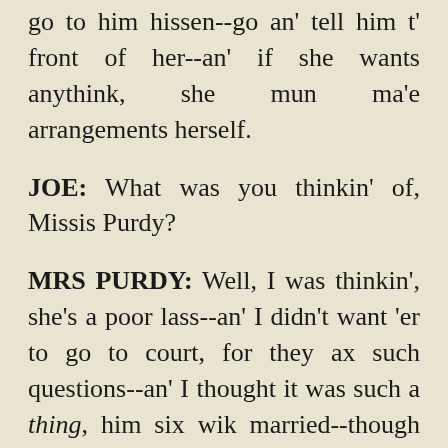go to him hissen--go an' tell him t' front of her--an' if she wants anythink, she mun ma'e arrangements herself.
JOE: What was you thinkin' of, Missis Purdy?
MRS PURDY: Well, I was thinkin', she's a poor lass--an' I didn't want 'er to go to court, for they ax such questions--an' I thought it was such a thing, him six wik married--though to be sure I'd no notions of how it was--I thought, we might happen say, it was one o' them electricians as was along when they laid th' wires under th' road down to Batsford--and--